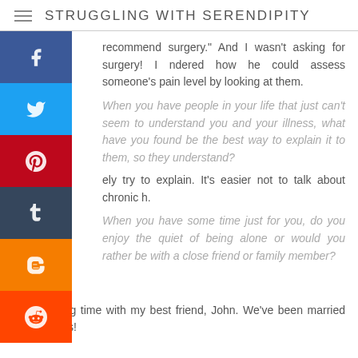STRUGGLING WITH SERENDIPITY
recommend surgery." And I wasn't asking for surgery! I wondered how he could assess someone's pain level by looking at them.
When you have people in your life that just can't seem to understand you and your illness, what have you found to be the best way to explain it to them, so they understand?
ely try to explain. It's easier not to talk about chronic h.
When you have some time just for you, do you enjoy the quiet of being alone or would you rather be with a close friend or family member?
ve spending time with my best friend, John. We've been married for 40 years!